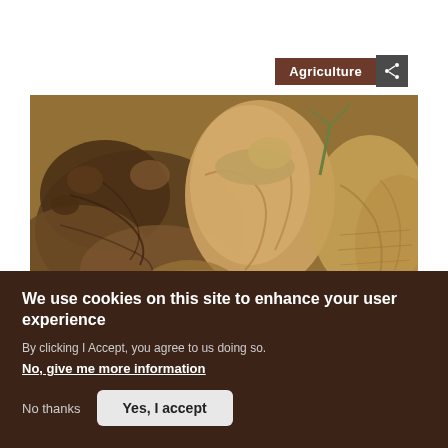Agriculture
[Figure (photo): Close-up photograph of fresh ginger roots piled together, showing their knobby, tan-brown textured surface.]
We use cookies on this site to enhance your user experience
By clicking I Accept, you agree to us doing so.
No, give me more information
No thanks
Yes, I accept